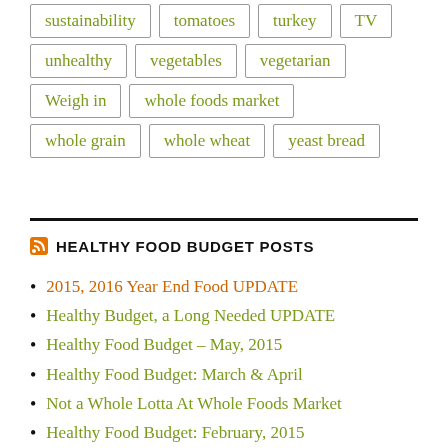sustainability
tomatoes
turkey
TV
unhealthy
vegetables
vegetarian
Weigh in
whole foods market
whole grain
whole wheat
yeast bread
HEALTHY FOOD BUDGET POSTS
2015, 2016 Year End Food UPDATE
Healthy Budget, a Long Needed UPDATE
Healthy Food Budget – May, 2015
Healthy Food Budget: March & April
Not a Whole Lotta At Whole Foods Market
Healthy Food Budget: February, 2015